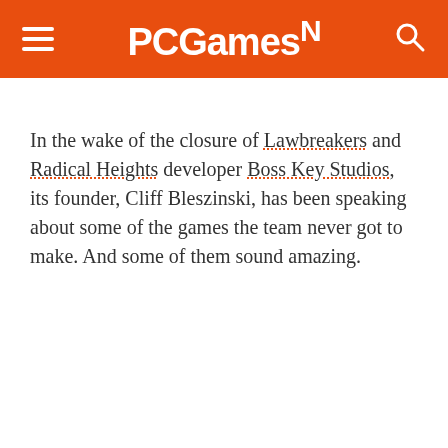PCGamesN
In the wake of the closure of Lawbreakers and Radical Heights developer Boss Key Studios, its founder, Cliff Bleszinski, has been speaking about some of the games the team never got to make. And some of them sound amazing.